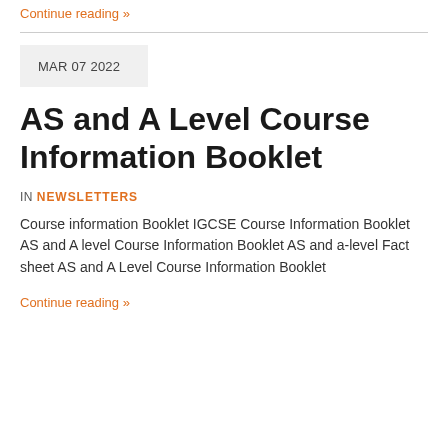Continue reading »
AS and A Level Course Information Booklet
MAR 07 2022
IN NEWSLETTERS
Course information Booklet IGCSE Course Information Booklet AS and A level Course Information Booklet AS and a-level Fact sheet AS and A Level Course Information Booklet
Continue reading »